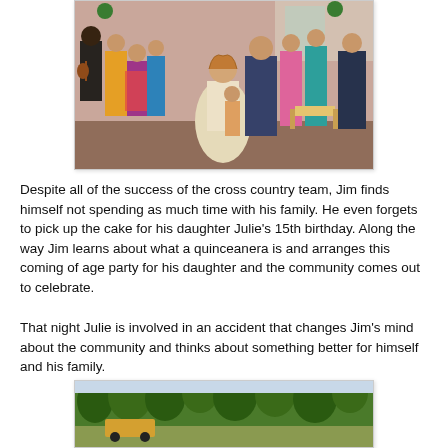[Figure (photo): Indoor scene of a quinceañera celebration. A young woman in a white/cream dress is surrounded by people in colorful traditional clothing. A mariachi musician is visible on the left. Several adults and children are gathered around in a festive room.]
Despite all of the success of the cross country team, Jim finds himself not spending as much time with his family. He even forgets to pick up the cake for his daughter Julie's 15th birthday. Along the way Jim learns about what a quinceanera is and arranges this coming of age party for his daughter and the community comes out to celebrate.
That night Julie is involved in an accident that changes Jim's mind about the community and thinks about something better for himself and his family.
[Figure (photo): Outdoor scene showing trees and what appears to be a rural setting with some vehicles visible.]